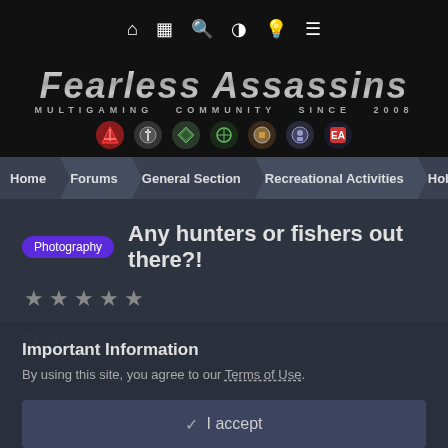Top navigation bar with home, news, search, contrast, bulb, menu icons
[Figure (logo): Fearless Assassins Multigaming Community Since 2008 logo with game icons]
Home | Forums | General Section | Recreational Activities | Hobb...
Any hunters or fishers out there?!
★★★★★ (empty star rating)
By Sick, April 21, 2021 in Hobbies
Important Information
By using this site, you agree to our Terms of Use.
✓ I accept